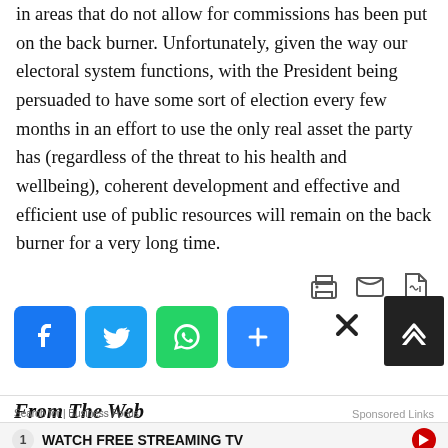in areas that do not allow for commissions has been put on the back burner. Unfortunately, given the way our electoral system functions, with the President being persuaded to have some sort of election every few months in an effort to use the only real asset the party has (regardless of the threat to his health and wellbeing), coherent development and effective and efficient use of public resources will remain on the back burner for a very long time.
[Figure (infographic): Social share icons (Facebook, Twitter, WhatsApp, Share) and print/email/PDF action icons]